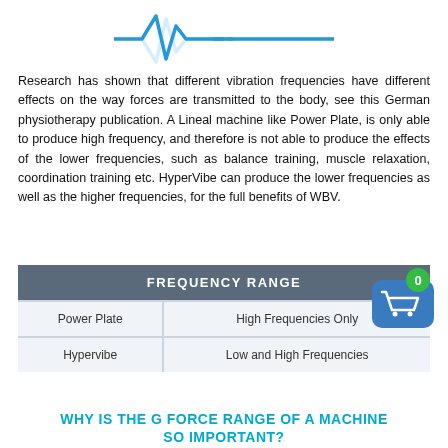[Figure (illustration): Blue waveform/pulse logo with dashes, resembling a stylized EKG or vibration wave, with a reflection below]
Research has shown that different vibration frequencies have different effects on the way forces are transmitted to the body, see this German physiotherapy publication. A Lineal machine like Power Plate, is only able to produce high frequency, and therefore is not able to produce the effects of the lower frequencies, such as balance training, muscle relaxation, coordination training etc. HyperVibe can produce the lower frequencies as well as the higher frequencies, for the full benefits of WBV.
| FREQUENCY RANGE |  |
| --- | --- |
| Power Plate | High Frequencies Only |
| Hypervibe | Low and High Frequencies |
WHY IS THE G FORCE RANGE OF A MACHINE SO IMPORTANT?